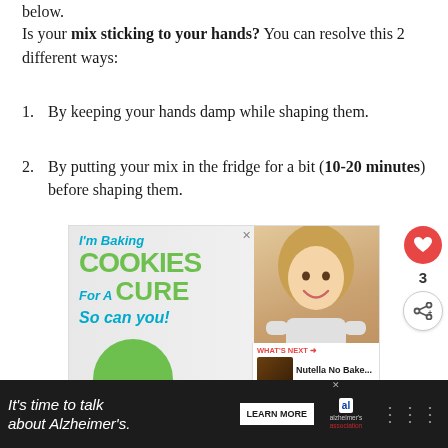below.
Is your mix sticking to your hands? You can resolve this 2 different ways:
By keeping your hands damp while shaping them.
By putting your mix in the fridge for a bit (10-20 minutes) before shaping them.
[Figure (photo): Advertisement banner: 'I'm Baking COOKIES For A CURE So can you!' with a smiling young blonde girl holding cookies, for an Alzheimer's fundraiser]
[Figure (infographic): Bottom advertisement bar: 'It's time to talk about Alzheimer's.' with LEARN MORE button and Alzheimer's Association logo]
[Figure (infographic): Sidebar with heart icon showing count 3 and share icon]
[Figure (infographic): What's Next overlay showing Nutella No Bake... thumbnail]